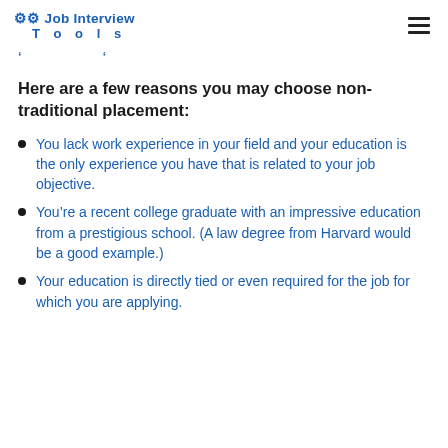Job Interview Tools
Here are a few reasons you may choose non-traditional placement:
You lack work experience in your field and your education is the only experience you have that is related to your job objective.
You're a recent college graduate with an impressive education from a prestigious school. (A law degree from Harvard would be a good example.)
Your education is directly tied or even required for the job for which you are applying.